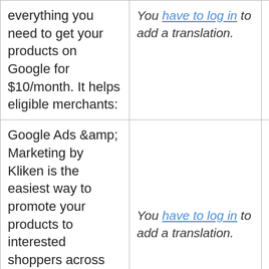| everything you need to get your products on Google for $10/month. It helps eligible merchants: | You have to log in to add a translation. |  |
| Google Ads &amp; Marketing by Kliken is the easiest way to promote your products to interested shoppers across Google so you can get discovered on any budget. | You have to log in to add a translation. | Details |
| Contact information: include accurate |  | Details |